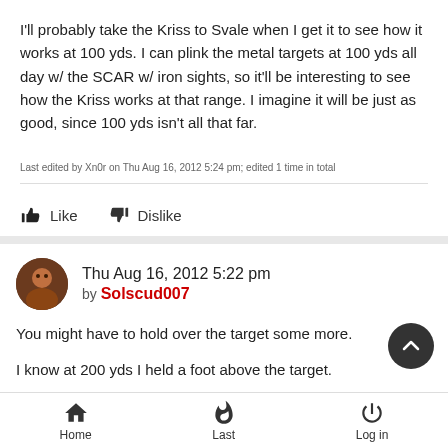I'll probably take the Kriss to Svale when I get it to see how it works at 100 yds. I can plink the metal targets at 100 yds all day w/ the SCAR w/ iron sights, so it'll be interesting to see how the Kriss works at that range. I imagine it will be just as good, since 100 yds isn't all that far.
Last edited by Xn0r on Thu Aug 16, 2012 5:24 pm; edited 1 time in total
Like   Dislike
Thu Aug 16, 2012 5:22 pm by Solscud007
You might have to hold over the target some more.
I know at 200 yds I held a foot above the target.